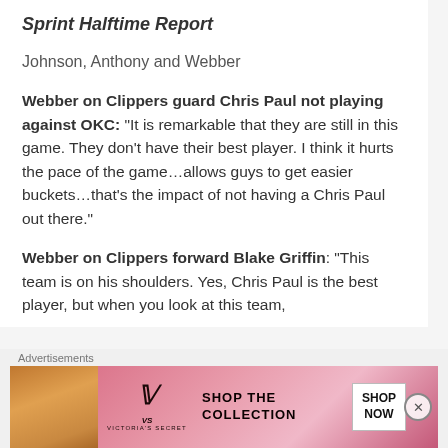Sprint Halftime Report
Johnson, Anthony and Webber
Webber on Clippers guard Chris Paul not playing against OKC: "It is remarkable that they are still in this game. They don't have their best player. I think it hurts the pace of the game…allows guys to get easier buckets…that's the impact of not having a Chris Paul out there."
Webber on Clippers forward Blake Griffin: "This team is on his shoulders. Yes, Chris Paul is the best player, but when you look at this team,
Advertisements
[Figure (photo): Victoria's Secret advertisement banner: woman's face on left, VS logo in center, SHOP THE COLLECTION text, SHOP NOW button on right, pink gradient background]